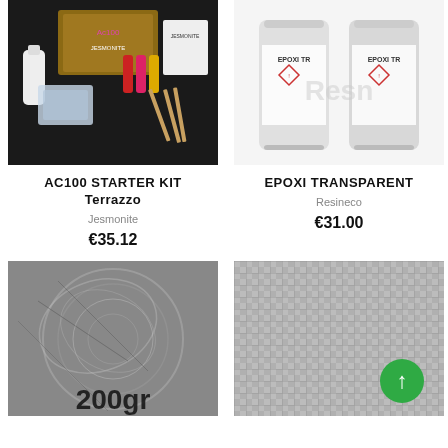[Figure (photo): AC100 Starter Kit Terrazzo product photo showing Jesmonite box, bottles of pigment, silicone molds, and mixing sticks on dark background]
AC100 STARTER KIT Terrazzo
Jesmonite
€35.12
[Figure (photo): Two Epoxi TR transparent resin cans with Resineco branding on white background]
EPOXI TRANSPARENT
Resineco
€31.00
[Figure (photo): Close-up of fibreglass mat material in grey/silver with text 200gr overlaid at bottom]
[Figure (photo): Close-up of woven fibreglass fabric with JESMONITE logo watermark and green circular arrow icon]